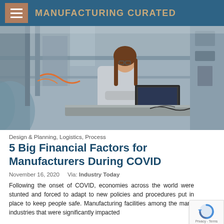MANUFACTURING CURATED
[Figure (photo): Woman with glasses working on a laptop in an industrial manufacturing facility with equipment and cables in the background]
Design & Planning, Logistics, Process
5 Big Financial Factors for Manufacturers During COVID
November 16, 2020    Via: Industry Today
Following the onset of COVID, economies across the world were stunted and forced to adapt to new policies and pr... put in place to keep people safe. Manufacturing facilities among the many industries that were significantly impacted